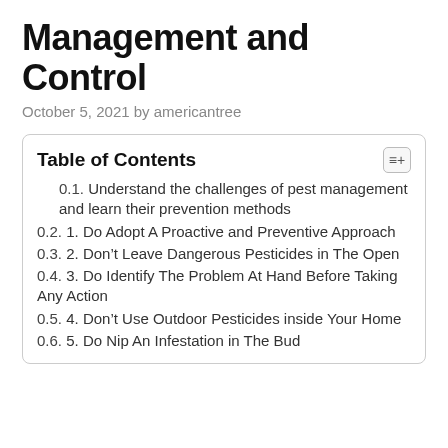Management and Control
October 5, 2021 by americantree
| 0.1. Understand the challenges of pest management and learn their prevention methods |
| 0.2. 1. Do Adopt A Proactive and Preventive Approach |
| 0.3. 2. Don’t Leave Dangerous Pesticides in The Open |
| 0.4. 3. Do Identify The Problem At Hand Before Taking Any Action |
| 0.5. 4. Don’t Use Outdoor Pesticides inside Your Home |
| 0.6. 5. Do Nip An Infestation in The Bud |